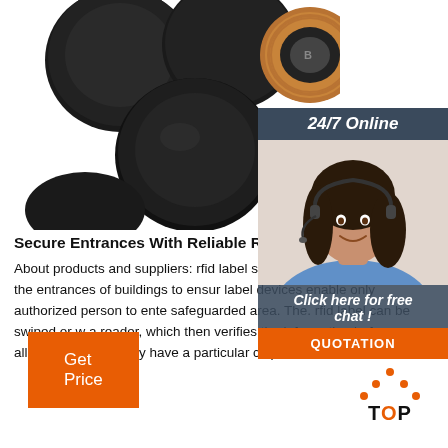[Figure (photo): Multiple black RFID disc tags/buttons, one showing copper coil detail, on white background]
[Figure (photo): 24/7 Online chat widget with a smiling female customer service agent wearing a headset, dark blue header reading '24/7 Online', orange QUOTATION button, and 'Click here for free chat!' text]
Secure Entrances With Reliable Rfid Label Smart D
About products and suppliers: rfid label sets are com cards situated at the entrances of buildings to ensur label devices enable only authorized person to ente safeguarded area. The. rfid label can be swiped or w a reader, which then verifies the information before allowing access. They have a particular chip installed in them that ...
[Figure (other): Orange 'Get Price' button]
[Figure (other): TOP icon with orange dots above text]